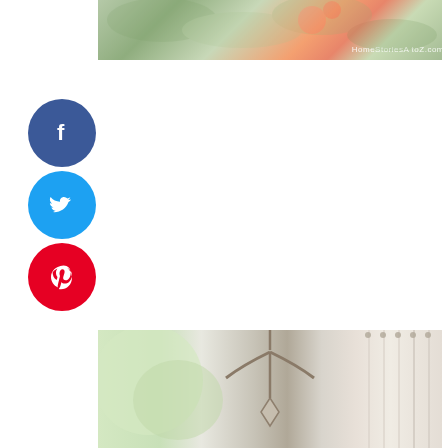[Figure (photo): Floral arrangement with green foliage and coral/red flowers, with a watermark in the lower right area]
[Figure (illustration): Social media share buttons: Facebook (dark blue circle with f), Twitter (light blue circle with bird icon), Pinterest (red circle with P)]
[Figure (photo): Interior home photo showing a chandelier in a bright room with windows and curtains, light and airy decor]